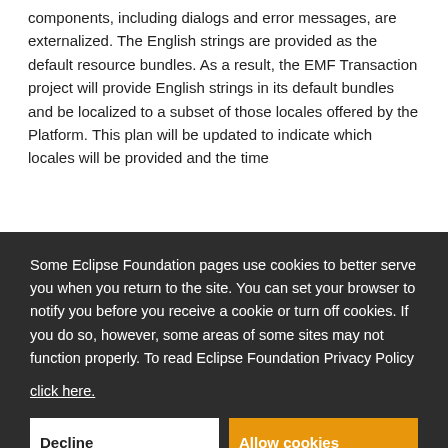components, including dialogs and error messages, are externalized. The English strings are provided as the default resource bundles. As a result, the EMF Transaction project will provide English strings in its default bundles and be localized to a subset of those locales offered by the Platform. This plan will be updated to indicate which locales will be provided and the time
[Figure (screenshot): Cookie consent overlay with dark background. Text reads: 'Some Eclipse Foundation pages use cookies to better serve you when you return to the site. You can set your browser to notify you before you receive a cookie or turn off cookies. If you do so, however, some areas of some sites may not function properly. To read Eclipse Foundation Privacy Policy click here.' Two buttons: 'Decline' (white) and 'Allow cookies' (orange).]
ill be
of the
onding
opriate
Eclipse MDT OCL version 3.2